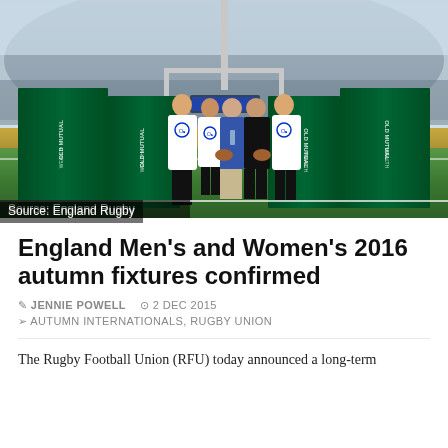[Figure (photo): Rugby players and officials posing on Twickenham Stadium pitch in front of green Old Mutual Wealth banners, with goal posts visible in background. Source: England Rugby]
Source: England Rugby
England Men’s and Women’s 2016 autumn fixtures confirmed
↗ JENNIE POWELL  ⏰ 2 DEC 2015
➤ AUTUMN INTERNATIONALS, RUGBY UNION
The Rugby Football Union (RFU) today announced a long-term